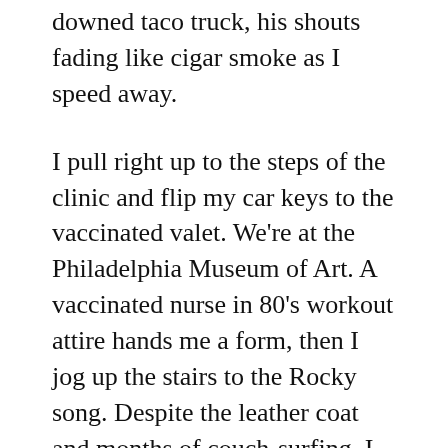downed taco truck, his shouts fading like cigar smoke as I speed away.
I pull right up to the steps of the clinic and flip my car keys to the vaccinated valet. We're at the Philadelphia Museum of Art. A vaccinated nurse in 80's workout attire hands me a form, then I jog up the stairs to the Rocky song. Despite the leather coat and months of couch-surfing, I fly up the steps like Olympian marathoner Eliud Kipchoge.
The shot burns like freedom. It opens a portal to a new location, where I'm at the head of a Soul Train line. James Brown sings Get Up Offa That Thing. Vaccinated octogenarians dressed like candy stripers boogie on either side as I